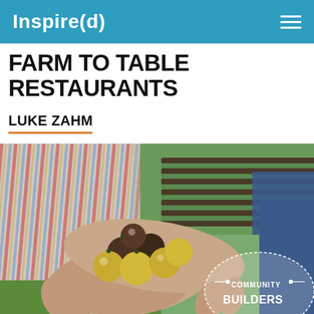Inspire(d)
FARM TO TABLE RESTAURANTS
LUKE ZAHM
[Figure (photo): Close-up photo of two people's hands cupping a collection of small heirloom cherry tomatoes (green, yellow, and dark purple/brown colors) with a farm field and another person in jeans visible in the background. A 'Community Builders' badge/logo appears in the lower right corner.]